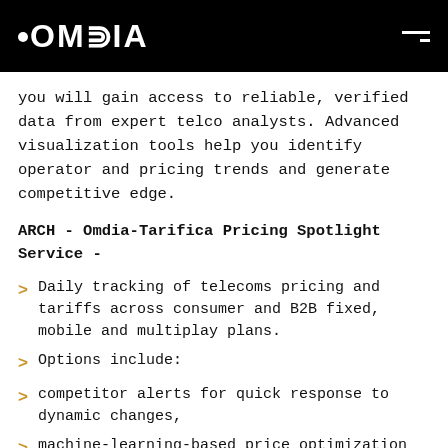OMDIA
you will gain access to reliable, verified data from expert telco analysts. Advanced visualization tools help you identify operator and pricing trends and generate competitive edge.
ARCH - Omdia-Tarifica Pricing Spotlight Service -
Daily tracking of telecoms pricing and tariffs across consumer and B2B fixed, mobile and multiplay plans.
Options include:
competitor alerts for quick response to dynamic changes,
machine-learning-based price optimization for maximum opportunities,